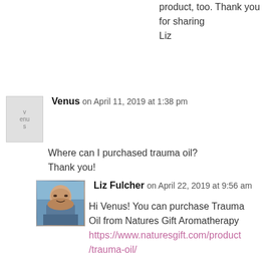product, too. Thank you for sharing
Liz
Venus on April 11, 2019 at 1:38 pm

Where can I purchased trauma oil? Thank you!
Liz Fulcher on April 22, 2019 at 9:56 am

Hi Venus! You can purchase Trauma Oil from Natures Gift Aromatherapy https://www.naturesgift.com/product/trauma-oil/